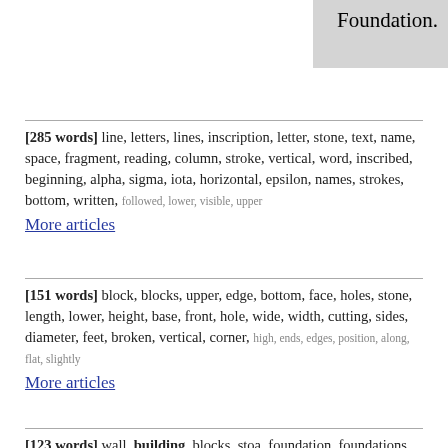Foundation.
[285 words] line, letters, lines, inscription, letter, stone, text, name, space, fragment, reading, column, stroke, vertical, word, inscribed, beginning, alpha, sigma, iota, horizontal, epsilon, names, strokes, bottom, written, followed, lower, visible, upper
More articles
[151 words] block, blocks, upper, edge, bottom, face, holes, stone, length, lower, height, base, front, hole, wide, width, cutting, sides, diameter, feet, broken, vertical, corner, high, ends, edges, position, along, flat, slightly
More articles
[123 words] wall, building, blocks, stoa, foundation, foundations, temple, corner, level, built, walls, agora, terrace, construction, poros, front, theater, marble, steps, line, plan, along, street, structure, altar, sanctuary, rock, face, block, early
More articles